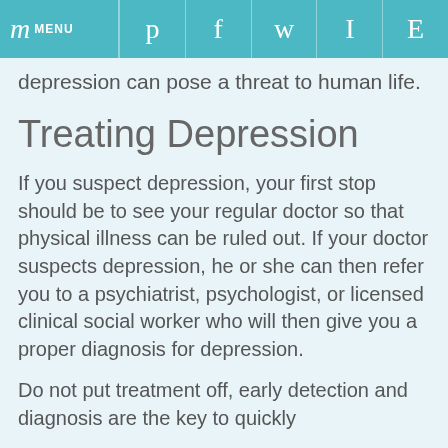m MENU  p  f  w  I  E
depression can pose a threat to human life.
Treating Depression
If you suspect depression, your first stop should be to see your regular doctor so that physical illness can be ruled out. If your doctor suspects depression, he or she can then refer you to a psychiatrist, psychologist, or licensed clinical social worker who will then give you a proper diagnosis for depression.
Do not put treatment off, early detection and diagnosis are the key to quickly